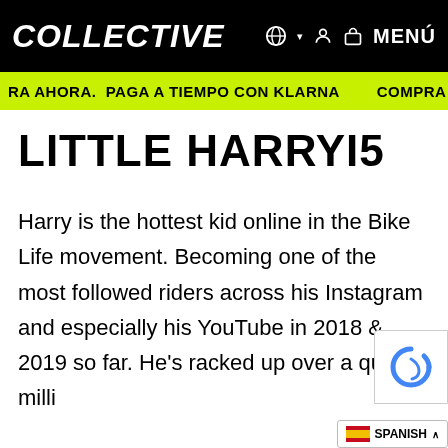COLLECTIVE   MENÚ
RA AHORA. PAGA A TIEMPO CON KLARNA   COMPRA
LITTLE HARRYI5
Harry is the hottest kid online in the Bike Life movement. Becoming one of the most followed riders across his Instagram and especially his YouTube in 2018 & 2019 so far. He's racked up over a quarter milli…